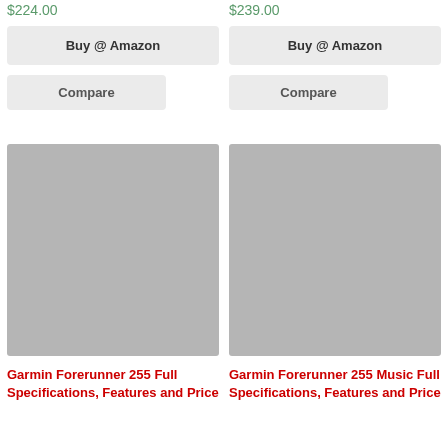$224.00
$239.00
Buy @ Amazon
Buy @ Amazon
Compare
Compare
[Figure (photo): Product image placeholder (grey square) for Garmin Forerunner 255]
[Figure (photo): Product image placeholder (grey square) for Garmin Forerunner 255 Music]
Garmin Forerunner 255 Full Specifications, Features and Price
Garmin Forerunner 255 Music Full Specifications, Features and Price